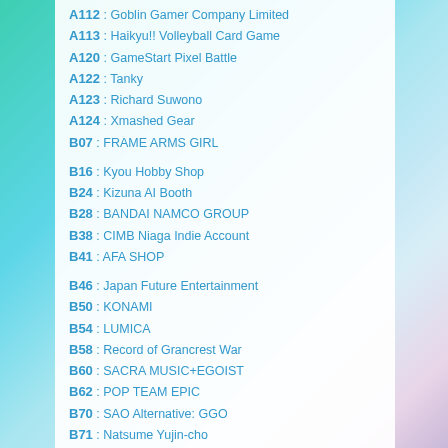A112 : Goblin Gamer Company Limited
A113 : Haikyu!! Volleyball Card Game
A120 : GameStart Pixel Battle
A122 : Tanky
A123 : Richard Suwono
A124 : Xmashed Gear
B07 : FRAME ARMS GIRL
B16 : Kyou Hobby Shop
B24 : Kizuna AI Booth
B28 : BANDAI NAMCO GROUP
B38 : CIMB Niaga Indie Account
B41 : AFA SHOP
B46 : Japan Future Entertainment
B50 : KONAMI
B54 : LUMICA
B58 : Record of Grancrest War
B60 : SACRA MUSIC+EGOIST
B62 : POP TEAM EPIC
B70 : SAO Alternative: GGO
B71 : Natsume Yujin-cho
B72 : Ikemen World Series Tour 2018
B74 : Food Fantasy/Love Nikki